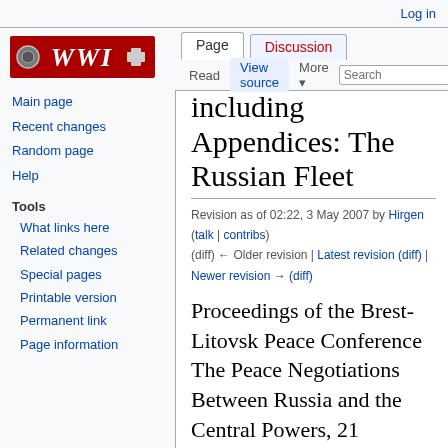Log in
[Figure (logo): WWI wiki red logo with iron cross]
Main page
Recent changes
Random page
Help
Tools
What links here
Related changes
Special pages
Printable version
Permanent link
Page information
including Appendices: The Russian Fleet
Revision as of 02:22, 3 May 2007 by Hirgen (talk | contribs)
(diff) ← Older revision | Latest revision (diff) | Newer revision → (diff)
Proceedings of the Brest-Litovsk Peace Conference The Peace Negotiations Between Russia and the Central Powers, 21 November, 1917-3 March, 1918